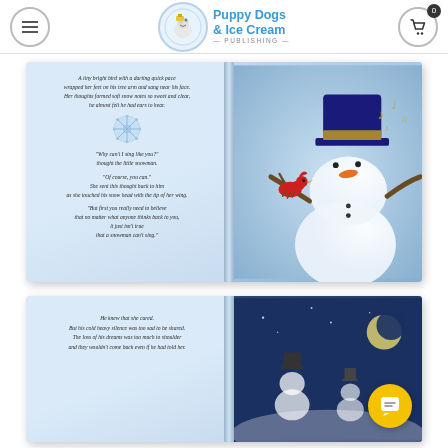Puppy Dogs & Ice Cream Publishing
[Figure (illustration): Open children's book spread. Left page has italic poetry text about a tiny bright bird and a snowman who wants to sing, with a snowflake decoration. Right page shows illustration of cheerful snowman wearing a blue top hat with a red cardinal bird perched on its arm, musical notes floating, light blue background.]
[Figure (illustration): Second open children's book spread. Left page has italic poetry text beginning 'He knew that she cared. But his cold heavy silence was too sad to be shared. The loss of his dreams was too much to shoulder and they wouldn't come back even if he had told her.' Right page shows night scene with snowmen and moon on dark blue background.]